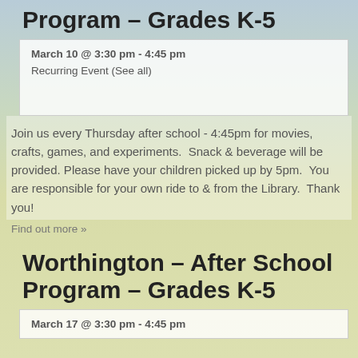Program – Grades K-5
March 10 @ 3:30 pm - 4:45 pm
Recurring Event (See all)
Join us every Thursday after school - 4:45pm for movies, crafts, games, and experiments.  Snack & beverage will be provided. Please have your children picked up by 5pm.  You are responsible for your own ride to & from the Library.  Thank you!
Find out more »
Worthington – After School Program – Grades K-5
March 17 @ 3:30 pm - 4:45 pm